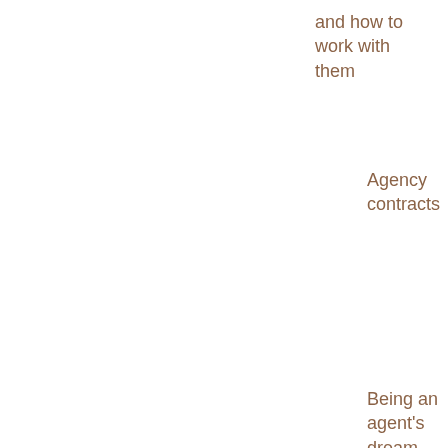and how to work with them
Agency contracts
Being an agent's dream client
Deal memos
My agent has asked